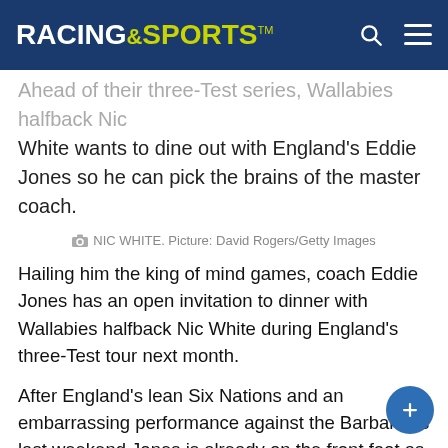RACING AND SPORTS TM
Ahead of their three-Test series, Wallabies halfback Nic White wants to dine out with England's Eddie Jones so he can pick the brains of the master coach.
NIC WHITE. Picture: David Rogers/Getty Images
Hailing him the king of mind games, coach Eddie Jones has an open invitation to dinner with Wallabies halfback Nic White during England's three-Test tour next month.
After England's lean Six Nations and an embarrassing performance against the Barbarians last weekend Jones is already on the front foot as he looks to stretch his winning record over Australia beyond eight straight.